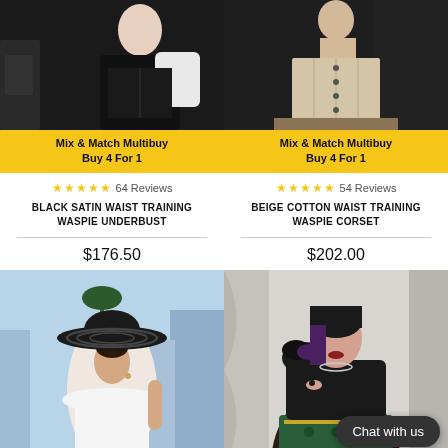[Figure (photo): Woman in black outfit with corset, dark background]
Mix & Match Multibuy
Buy 4 For 1
★★★★★ 64 Reviews
BLACK SATIN WAIST TRAINING WASPIE UNDERBUST
$176.50
[Figure (photo): Woman wearing beige/nude corset, dark background]
Mix & Match Multibuy
Buy 4 For 1
★★★★★ 54 Reviews
BEIGE COTTON WAIST TRAINING WASPIE CORSET
$202.00
[Figure (photo): Woman in white off-shoulder top wearing large black wide-brim hat, city background]
[Figure (photo): Plus size woman in black top with green skirt, studio background]
Chat with us